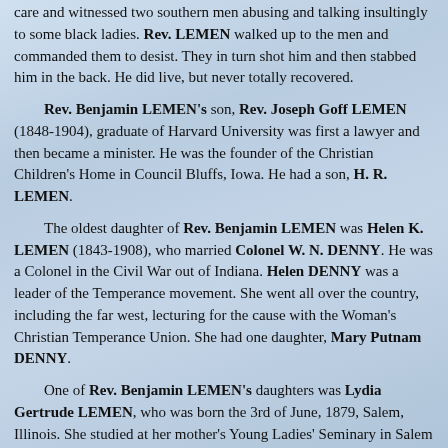care and witnessed two southern men abusing and talking insultingly to some black ladies. Rev. LEMEN walked up to the men and commanded them to desist. They in turn shot him and then stabbed him in the back. He did live, but never totally recovered.
Rev. Benjamin LEMEN's son, Rev. Joseph Goff LEMEN (1848-1904), graduate of Harvard University was first a lawyer and then became a minister. He was the founder of the Christian Children's Home in Council Bluffs, Iowa. He had a son, H. R. LEMEN.
The oldest daughter of Rev. Benjamin LEMEN was Helen K. LEMEN (1843-1908), who married Colonel W. N. DENNY. He was a Colonel in the Civil War out of Indiana. Helen DENNY was a leader of the Temperance movement. She went all over the country, including the far west, lecturing for the cause with the Woman's Christian Temperance Union. She had one daughter, Mary Putnam DENNY.
One of Rev. Benjamin LEMEN's daughters was Lydia Gertrude LEMEN, who was born the 3rd of June, 1879, Salem, Illinois. She studied at her mother's Young Ladies' Seminary in Salem and then went to Almira College in Greenville, Illinois. There she graduated with the Class of 1876. It is this daughter who